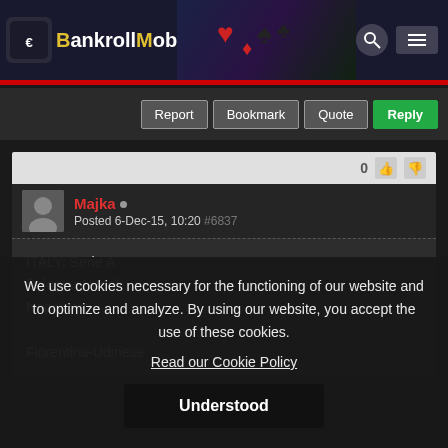The BankrollMob
Report  Bookmark  Quote  Reply
0
Majka
Posted 6-Dec-15, 10:20  #6837
ITALY: Serie A
Bologna-Napoli
Napoli win

Fiorentina-Udinese
We use cookies necessary for the functioning of our website and to optimize and analyze. By using our website, you accept the use of these cookies.
Read our Cookie Policy
Understood